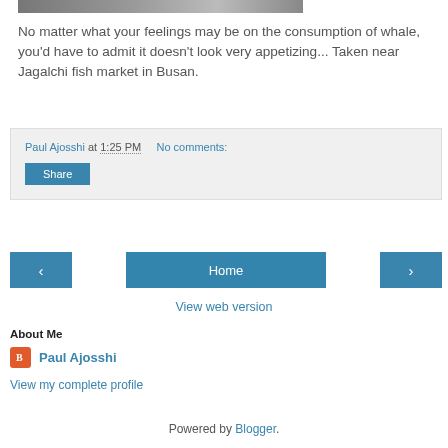[Figure (photo): Partial top image strip showing social media icons and a photo thumbnail]
No matter what your feelings may be on the consumption of whale, you'd have to admit it doesn't look very appetizing... Taken near Jagalchi fish market in Busan.
Paul Ajosshi at 1:25 PM   No comments:
Share
‹   Home   ›
View web version
About Me
Paul Ajosshi
View my complete profile
Powered by Blogger.